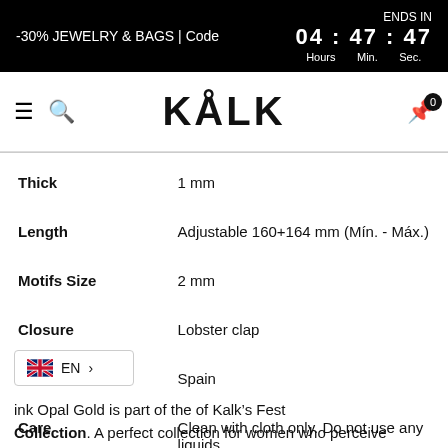-30% JEWELRY & BAGS | Code    ENDS IN  04 : 47 : 47  Hours  Min.  Sec.
[Figure (logo): KÅLK brand logo in bold uppercase letters with a hamburger menu icon, search icon on the left, and a cart icon with badge '0' on the right]
| Thick | 1 mm |
| Length | Adjustable 160+164 mm (Mín. - Máx.) |
| Motifs Size | 2 mm |
| Closure | Lobster clap |
| Made in | Spain |
| Care | Clean with cloth only. Do not use any liquids. |
ink Opal Gold is part of the of Kalk's Fest Collection. A perfect collection for women who perceive